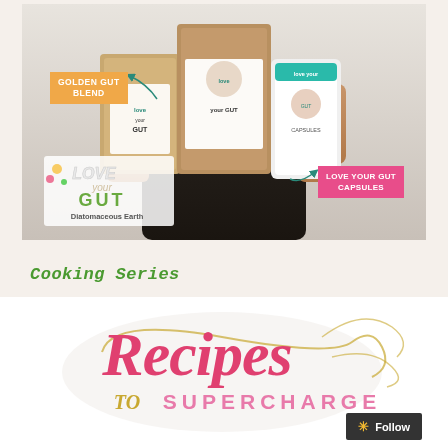[Figure (photo): Person holding three Love Your Gut branded products: a brown kraft bag labeled Golden Gut Blend (with orange callout label), a central branded pouch, and a white container labeled Love Your Gut Capsules (with pink callout label). The Love Your Gut Diatomaceous Earth logo is visible in the lower left of the image with green and white text and floral decoration.]
Cooking Series
[Figure (logo): Recipes to Supercharge logo — 'Recipes' in large cursive pink/red script with golden swirl decoration, 'TO SUPERCHARGE' in smaller spaced letters in pink and gold.]